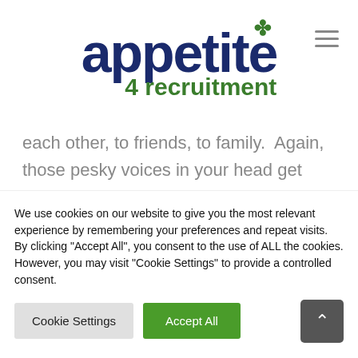[Figure (logo): Appetite 4 Recruitment logo with dark blue 'appetite' text, green shamrock, and green '4 recruitment' subtext]
each other, to friends, to family.  Again, those pesky voices in your head get mighty loud and sometimes chatting it through with another actual human being brings everything back into perspective!  But remember that it's also
We use cookies on our website to give you the most relevant experience by remembering your preferences and repeat visits. By clicking "Accept All", you consent to the use of ALL the cookies. However, you may visit "Cookie Settings" to provide a controlled consent.